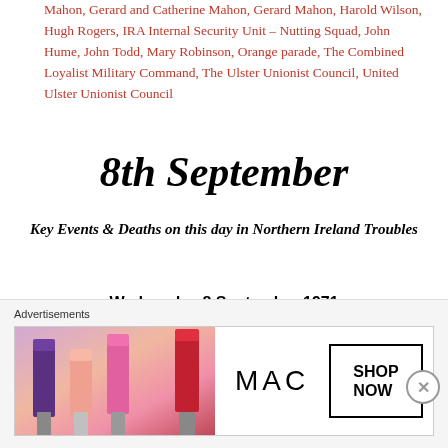Mahon, Gerard and Catherine Mahon, Gerard Mahon, Harold Wilson, Hugh Rogers, IRA Internal Security Unit – Nutting Squad, John Hume, John Todd, Mary Robinson, Orange parade, The Combined Loyalist Military Command, The Ulster Unionist Council, United Ulster Unionist Council
8th September
Key Events & Deaths on this day in Northern Ireland Troubles
Wednesday 8 September 1971